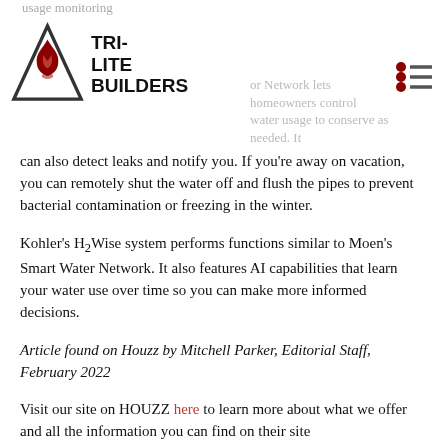usage monitoring
[Figure (logo): Tri-Lite Builders logo: triangle with flame icon and company name text]
or Network lets homeowners control water usage to conserve as needed. It can also detect leaks and notify you. If you're away on vacation, you can remotely shut the water off and flush the pipes to prevent bacterial contamination or freezing in the winter.
Kohler's H2Wise system performs functions similar to Moen's Smart Water Network. It also features AI capabilities that learn your water use over time so you can make more informed decisions.
Article found on Houzz by Mitchell Parker, Editorial Staff, February 2022
Visit our site on HOUZZ here to learn more about what we offer and all the information you can find on their site
Home Remodeling in the Greater Phoenix Area